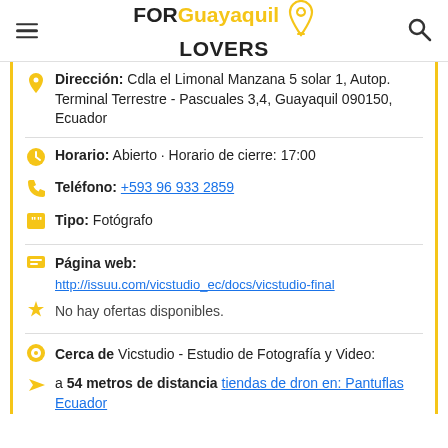FOR Guayaquil LOVERS
Dirección: Cdla el Limonal Manzana 5 solar 1, Autop. Terminal Terrestre - Pascuales 3,4, Guayaquil 090150, Ecuador
Horario: Abierto · Horario de cierre: 17:00
Teléfono: +593 96 933 2859
Tipo: Fotógrafo
Página web: http://issuu.com/vicstudio_ec/docs/vicstudio-final
No hay ofertas disponibles.
Cerca de Vicstudio - Estudio de Fotografía y Video:
a 54 metros de distancia tiendas de dron en: Pantuflas Ecuador